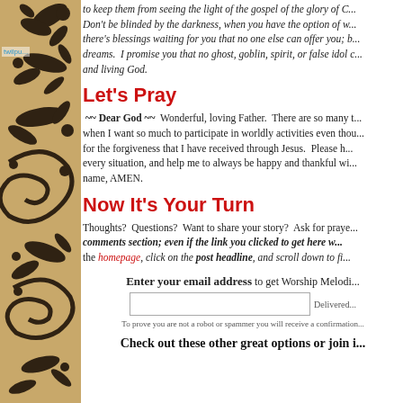[Figure (illustration): Decorative black floral/scroll pattern on tan/beige background forming left sidebar]
to keep them from seeing the light of the gospel of the glory of C... Don't be blinded by the darkness, when you have the option of w... there's blessings waiting for you that no one else can offer you; b... dreams. I promise you that no ghost, goblin, spirit, or false idol c... and living God.
Let's Pray
~~ Dear God ~~ Wonderful, loving Father. There are so many t... when I want so much to participate in worldly activities even thou... for the forgiveness that I have received through Jesus. Please h... every situation, and help me to always be happy and thankful wi... name, AMEN.
Now It's Your Turn
Thoughts? Questions? Want to share your story? Ask for praye... comments section; even if the link you clicked to get here w... the homepage, click on the post headline, and scroll down to fi...
Enter your email address to get Worship Melodi...
To prove you are not a robot or spammer you will receive a confirmation...
Check out these other great options or join i...